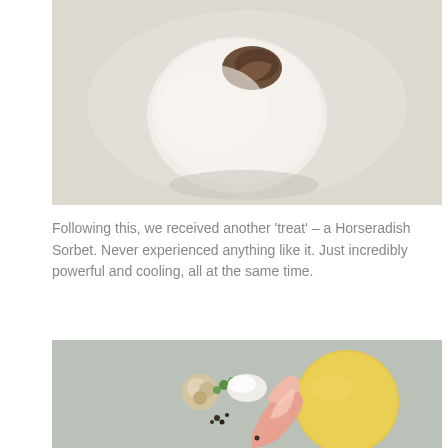[Figure (photo): Close-up food photo showing a rounded white/cream colored sorbet or dumpling on a white plate, partially cut open revealing a dark filling, shot from above on a light background.]
Following this, we received another ‘treat’ – a Horseradish Sorbet. Never experienced anything like it. Just incredibly powerful and cooling, all at the same time.
[Figure (photo): Overhead food photo on a grey plate showing a plated dish with a large yellow circular sauce/puree, pink shrimp or prawn, roasted cauliflower floret, small green peas or beans, dark caviar or seeds, and scattered garnishes.]